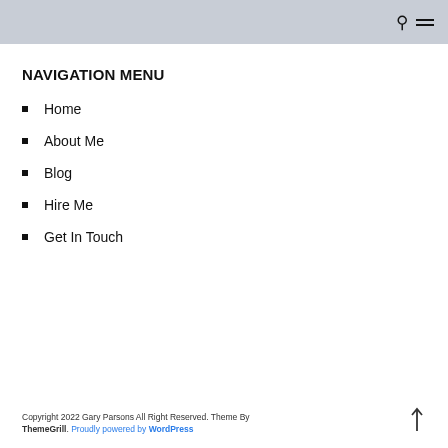NAVIGATION MENU
Home
About Me
Blog
Hire Me
Get In Touch
Copyright 2022 Gary Parsons All Right Reserved. Theme By ThemeGrill. Proudly powered by WordPress